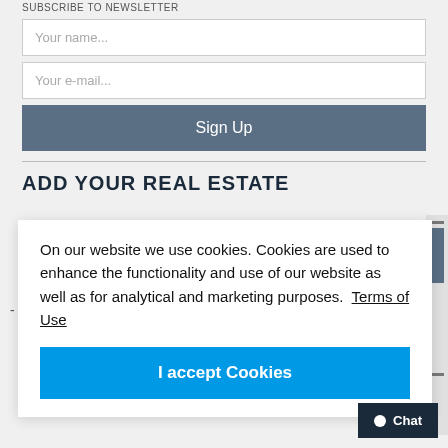SUBSCRIBE TO NEWSLETTER
Your name...
Your e-mail...
Sign Up
ADD YOUR REAL ESTATE
On our website we use cookies. Cookies are used to enhance the functionality and use of our website as well as for analytical and marketing purposes. Terms of Use
I accept Cookies
Chat